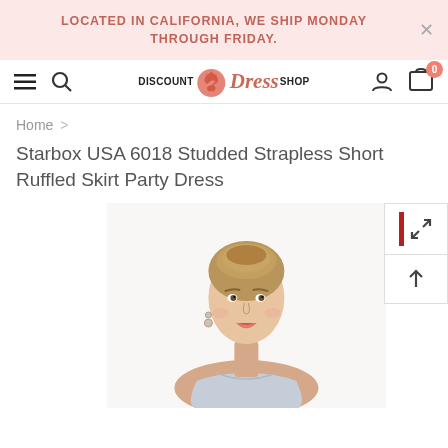LOCATED IN CALIFORNIA, WE SHIP MONDAY THROUGH FRIDAY.
[Figure (screenshot): Navigation bar with hamburger menu, search icon, Discount Dress Shop logo, user icon, and cart icon showing 0 items]
Home >
Starbox USA 6018 Studded Strapless Short Ruffled Skirt Party Dress
[Figure (photo): A woman with blonde hair in an updo wearing a light grey strapless short ruffled skirt party dress, photographed from the waist up against a white background]